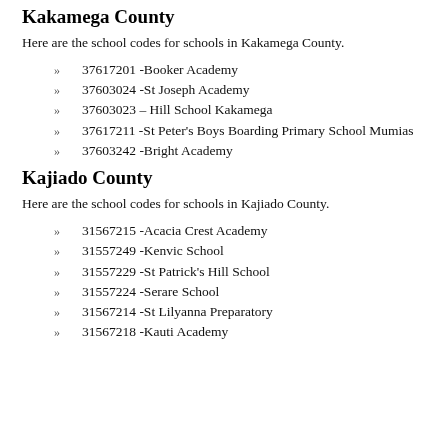Kakamega County
Here are the school codes for schools in Kakamega County.
37617201 -Booker Academy
37603024 -St Joseph Academy
37603023 – Hill School Kakamega
37617211 -St Peter's Boys Boarding Primary School Mumias
37603242 -Bright Academy
Kajiado County
Here are the school codes for schools in Kajiado County.
31567215 -Acacia Crest Academy
31557249 -Kenvic School
31557229 -St Patrick's Hill School
31557224 -Serare School
31567214 -St Lilyanna Preparatory
31567218 -Kauti Academy